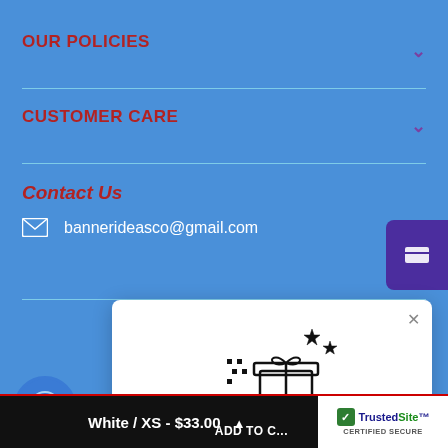OUR POLICIES
CUSTOMER CARE
Contact Us
bannerideasco@gmail.com
[Figure (screenshot): Purple tab/button on right edge of page]
[Figure (screenshot): Popup modal with gift box icon and sparkles, close button, purple circle button]
White / XS - $33.00  ADD TO C...  TrustedSite CERTIFIED SECURE